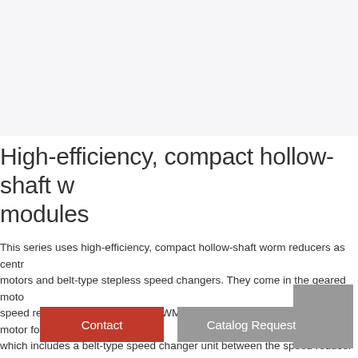[Figure (photo): Product image area showing high-efficiency compact hollow-shaft worm gear modules (top portion cut off)]
High-efficiency, compact hollow-shaft worm gear modules
This series uses high-efficiency, compact hollow-shaft worm reducers as central speed reducers with motors and belt-type stepless speed changers. They come in the geared motor type, which pairs a speed reducer with a motor, the RWM BS model, which uses a brake motor for the motor unit, and which includes a belt-type speed changer unit between the speed reducer and the motor. They all use B14 flange motors, so they are very compact.
[Figure (photo): Gray product image thumbnail at bottom right]